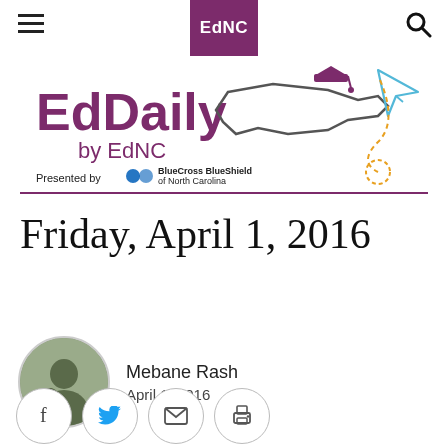EdNC
[Figure (logo): EdDaily by EdNC logo with North Carolina outline, graduation cap, and paper airplane illustration. Presented by BlueCross BlueShield of North Carolina.]
Friday, April 1, 2016
Mebane Rash
April 1, 2016